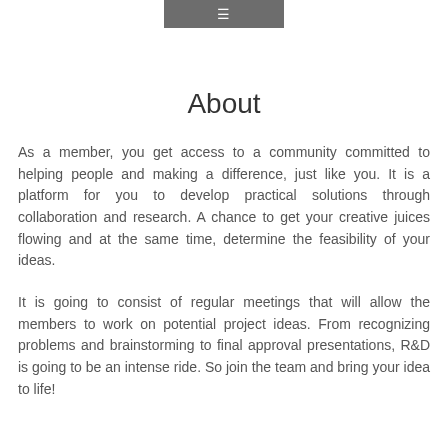[Figure (other): Navigation bar with hamburger menu icon on grey background]
About
As a member, you get access to a community committed to helping people and making a difference, just like you. It is a platform for you to develop practical solutions through collaboration and research. A chance to get your creative juices flowing and at the same time, determine the feasibility of your ideas.
It is going to consist of regular meetings that will allow the members to work on potential project ideas. From recognizing problems and brainstorming to final approval presentations, R&D is going to be an intense ride. So join the team and bring your idea to life!